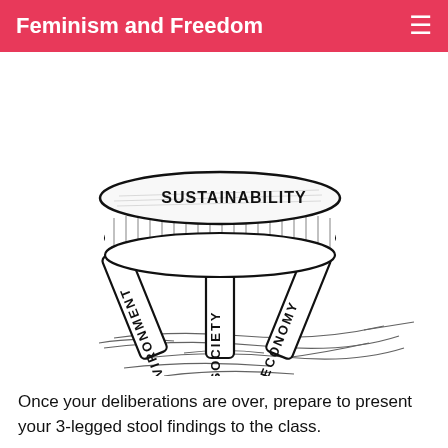Feminism and Freedom
[Figure (illustration): Hand-drawn sketch of a three-legged stool. The circular seat of the stool is labeled 'SUSTAINABILITY'. The three legs are labeled 'ENVIRONMENT' (left leg, text written vertically), 'SOCIETY' (middle leg, text written vertically), and 'ECONOMY' (right leg, text written vertically). The shadow/ground beneath the stool is shown with scribbled pencil marks.]
Once your deliberations are over, prepare to present your 3-legged stool findings to the class.